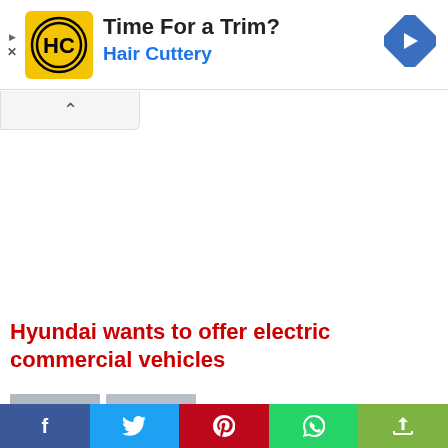[Figure (other): Advertisement banner for Hair Cuttery with yellow logo, text 'Time For a Trim?' and 'Hair Cuttery', and a blue navigation arrow icon on the right.]
Hyundai wants to offer electric commercial vehicles
Hyundai accelerates the market
[Figure (other): Social sharing bar with Facebook, Twitter, Pinterest, WhatsApp, and share buttons.]